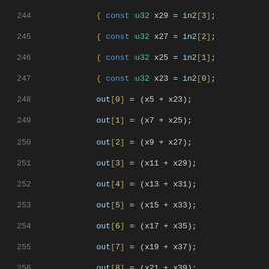Code listing lines 244-265, C source code showing array assignments and function definition
244: { const u32 x29 = in2[3];
245: { const u32 x27 = in2[2];
246: { const u32 x25 = in2[1];
247: { const u32 x23 = in2[0];
248: out[0] = (x5 + x23);
249: out[1] = (x7 + x25);
250: out[2] = (x9 + x27);
251: out[3] = (x11 + x29);
252: out[4] = (x13 + x31);
253: out[5] = (x15 + x33);
254: out[6] = (x17 + x35);
255: out[7] = (x19 + x37);
256: out[8] = (x21 + x39);
257: out[9] = (x20 + x38);
258: }}}}}}}}}}}}}}}}}}}}}
259: }
260: (blank)
261: /* h = f + g
262:  * Can overlap h with f or g.
263:  */
264: static __always_inline void fe_add(fe_loose *h,
265: {